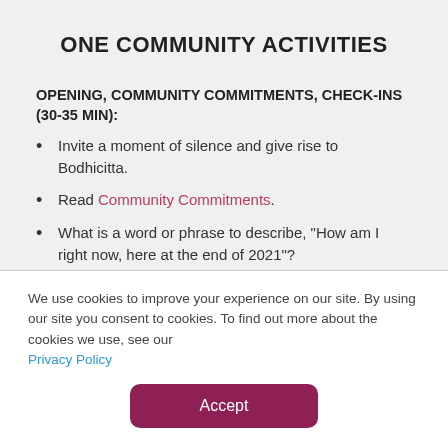ONE COMMUNITY ACTIVITIES
OPENING, COMMUNITY COMMITMENTS, CHECK-INS (30-35 MIN):
Invite a moment of silence and give rise to Bodhicitta.
Read Community Commitments.
What is a word or phrase to describe, “How am I right now, here at the end of 2021”?
REFLECTION/JOURNAL (5 MIN):
We use cookies to improve your experience on our site. By using our site you consent to cookies. To find out more about the cookies we use, see our Privacy Policy
Accept